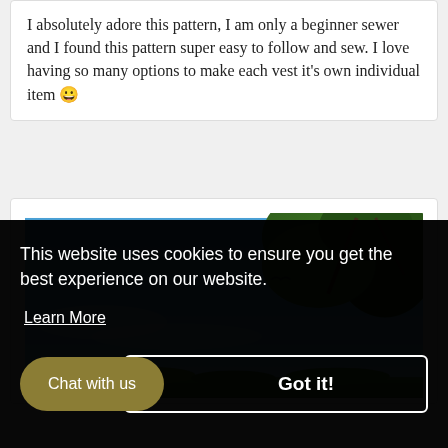I absolutely adore this pattern, I am only a beginner sewer and I found this pattern super easy to follow and sew. I love having so many options to make each vest it's own individual item 😀
[Figure (photo): Outdoor nature photo showing blue sky with white clouds and green tree branches at the top, with green grass/flowers visible at the bottom.]
This website uses cookies to ensure you get the best experience on our website.
Learn More
Chat with us
Got it!